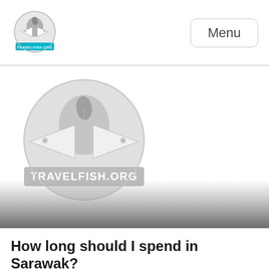TRAVELFISH.ORG | Menu
[Figure (logo): Large Travelfish.org logo in grayscale — two fish facing each other inside a circle with TRAVELFISH.ORG text banner below]
How long should I spend in Sarawak?